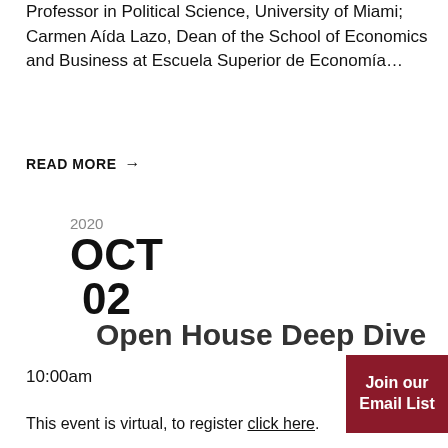Professor in Political Science, University of Miami; Carmen Aída Lazo, Dean of the School of Economics and Business at Escuela Superior de Economía…
READ MORE →
2020
OCT
02
Open House Deep Dive
10:00am
Join our Email List
This event is virtual, to register click here.